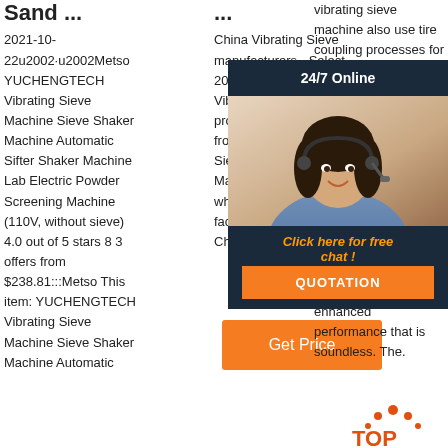Gravel And Manufacturer Sifter Machine Sand ...
2021-10-22u2002·u2002Metso YUCHENGTECH Vibrating Sieve Machine Sieve Shaker Machine Automatic Sifter Shaker Machine Lab Electric Powder Screening Machine (110V, without sieve) 4.0 out of 5 stars 8 3 offers from $238.81:::Metso This item: YUCHENGTECH Vibrating Sieve Machine Sieve Shaker Machine Automatic
Manufacturer Sifter Machine ...
China Vibrating Sieve manufacturers - Select 2021 high quality Vibrating Sieve products in best price from certified Chinese Sieve, Vibrating Machine suppliers, wholesalers and factory on Made-in-China.com
[Figure (other): Get Price orange button]
vibrating sieve machine also use tire coupling processes for smooth operation and as well as are made of high quality. These machines are available on Alibaba.com with high efficiency, structure and smaller amplitude for enhanced performance that is soundless. The.
[Figure (infographic): 24/7 Online chat widget with photo of customer service representative and Click here for free chat! text and QUOTATION orange button]